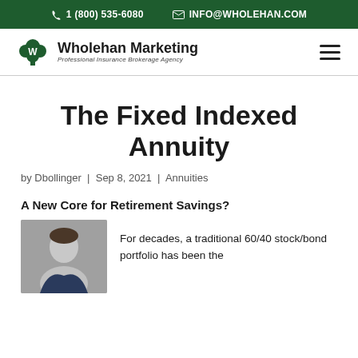1 (800) 535-6080  INFO@WHOLEHAN.COM
[Figure (logo): Wholehan Marketing logo with green tree/clover icon. Text: Wholehan Marketing, Professional Insurance Brokerage Agency]
The Fixed Indexed Annuity
by Dbollinger | Sep 8, 2021 | Annuities
A New Core for Retirement Savings?
[Figure (photo): Headshot of a young man in a suit, smiling, on a grey background]
For decades, a traditional 60/40 stock/bond portfolio has been the...